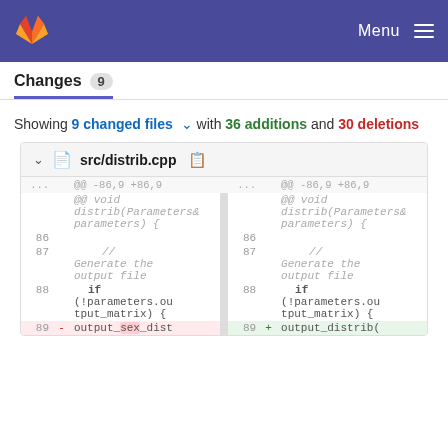Menu
Changes 9
Showing 9 changed files with 36 additions and 30 deletions
| line-old | marker | code-old | line-new | marker | code-new |
| --- | --- | --- | --- | --- | --- |
| ... |  | @@ -86,9 +86,9 ... | ... |  | @@ -86,9 +86,9 |
|  |  | @@ void distrib(Parameters& parameters) { |  |  | @@ void distrib(Parameters& parameters) { |
| 86 |  |  | 86 |  |  |
| 87 |  | // Generate the output file | 87 |  | // Generate the output file |
| 88 |  | if (!parameters.output_matrix) { | 88 |  | if (!parameters.output_matrix) { |
| 89 | - | output_sex_dist | 89 | + | output_distrib( |